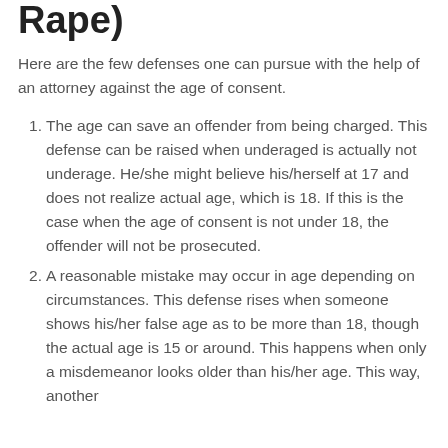Rape)
Here are the few defenses one can pursue with the help of an attorney against the age of consent.
The age can save an offender from being charged. This defense can be raised when underaged is actually not underage. He/she might believe his/herself at 17 and does not realize actual age, which is 18. If this is the case when the age of consent is not under 18, the offender will not be prosecuted.
A reasonable mistake may occur in age depending on circumstances. This defense rises when someone shows his/her false age as to be more than 18, though the actual age is 15 or around. This happens when only a misdemeanor looks older than his/her age. This way, another